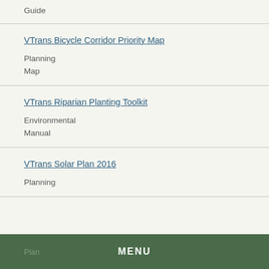Guide
VTrans Bicycle Corridor Priority Map
Planning
Map
VTrans Riparian Planting Toolkit
Environmental
Manual
VTrans Solar Plan 2016
Planning
Plan
MENU